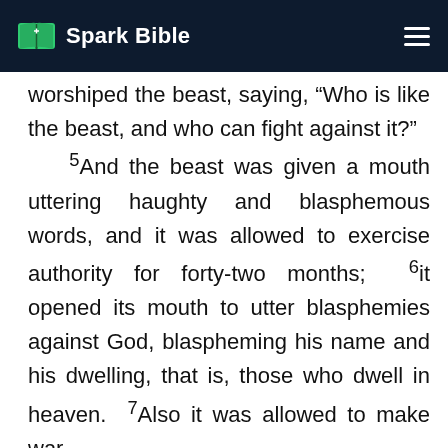Spark Bible
worshiped the beast, saying, “Who is like the beast, and who can fight against it?” 5 And the beast was given a mouth uttering haughty and blasphemous words, and it was allowed to exercise authority for forty-two months; 6 it opened its mouth to utter blasphemies against God, blaspheming his name and his dwelling, that is, those who dwell in heaven. 7 Also it was allowed to make war